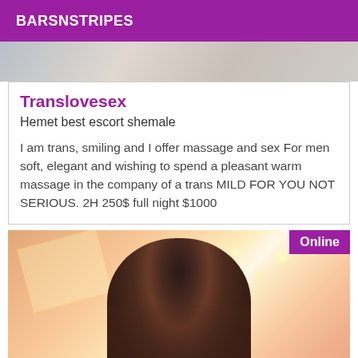BARSNSTRIPES
[Figure (photo): Partial photo strip at top of page showing a person, partially cropped]
Translovesex
Hemet best escort shemale
I am trans, smiling and I offer massage and sex For men soft, elegant and wishing to spend a pleasant warm massage in the company of a trans MILD FOR YOU NOT SERIOUS. 2H 250$ full night $1000
[Figure (photo): Photo of a woman with dark hair, warm orange/pink glowing background, with an 'Online' badge in the top right corner]